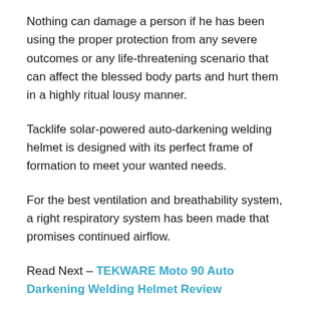Nothing can damage a person if he has been using the proper protection from any severe outcomes or any life-threatening scenario that can affect the blessed body parts and hurt them in a highly ritual lousy manner.
Tacklife solar-powered auto-darkening welding helmet is designed with its perfect frame of formation to meet your wanted needs.
For the best ventilation and breathability system, a right respiratory system has been made that promises continued airflow.
Read Next – TEKWARE Moto 90 Auto Darkening Welding Helmet Review
ARCPRO 20704 Auto-Darkening